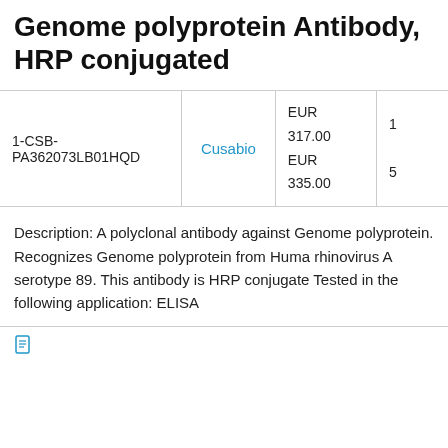Genome polyprotein Antibody, HRP conjugated
|  |  | Price |  |
| --- | --- | --- | --- |
| 1-CSB-PA362073LB01HQD | Cusabio | EUR 317.00
EUR 335.00 | 1
5 |
Description: A polyclonal antibody against Genome polyprotein. Recognizes Genome polyprotein from Human rhinovirus A serotype 89. This antibody is HRP conjugated. Tested in the following application: ELISA